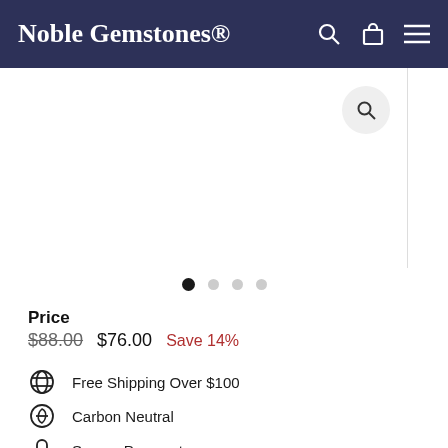Noble Gemstones®
[Figure (screenshot): Product image area with magnifier icon, showing main image panel flanked by left and right strips]
[Figure (other): Carousel dots: 4 dots, first filled black, others grey]
Price
$88.00  $76.00  Save 14%
Free Shipping Over $100
Carbon Neutral
Secure Payments
Will Be Shipped In 10-12 Days
Certificate On Demand (Contact Us)
Low stock - 1 item left